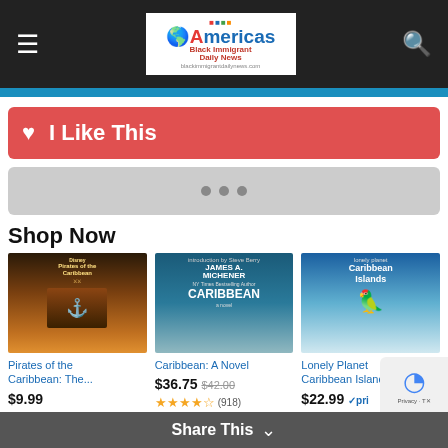Americas Black Immigrant Daily News - navigation header with hamburger menu, logo, and search icon
[Figure (screenshot): I Like This button - red rounded rectangle with heart icon and bold white text]
[Figure (screenshot): Gray bar with three dots pagination indicator]
Shop Now
[Figure (photo): Pirates of the Caribbean movie poster - dark dramatic scene with ships and characters]
Pirates of the Caribbean: The...
$9.99
(14998)
[Figure (photo): Caribbean: A Novel by James A. Michener book cover - teal background with palm tree]
Caribbean: A Novel
$36.75  $42.00
(918)
[Figure (photo): Lonely Planet Caribbean Islands 8th edition book cover - flamingo on beach]
Lonely Planet Caribbean Islands 8...
$22.99 ✓pri
Share This